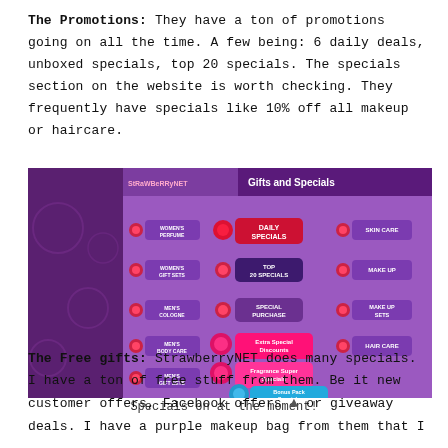The Promotions: They have a ton of promotions going on all the time. A few being: 6 daily deals, unboxed specials, top 20 specials. The specials section on the website is worth checking. They frequently have specials like 10% off all makeup or haircare.
[Figure (screenshot): Screenshot of StrawberryNET website's Gifts and Specials page showing various promotional categories including Daily Specials, Top 20 Specials, Special Purchases, Extra Special Discounts, Fragrance Super Specials, Bonus Pack Specials, Skin Care, Make Up, Make Up Sets, Hair Care in a purple themed layout.]
Specials on at the moment!
The Free gifts: StrawberryNET does many specials. I have a ton of free stuff from them. Be it new customer offers, Facebook offers or giveaway deals. I have a purple makeup bag from them that I